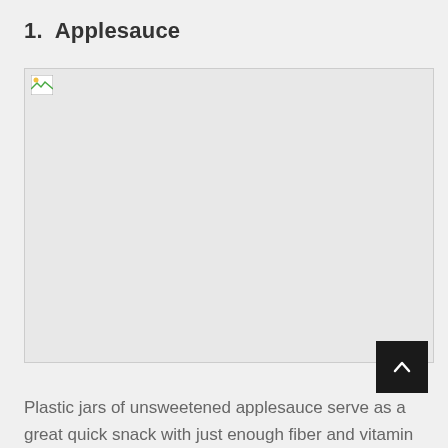1.  Applesauce
[Figure (photo): A broken/unloaded image placeholder for applesauce photo]
Plastic jars of unsweetened applesauce serve as a great quick snack with just enough fiber and vitamin